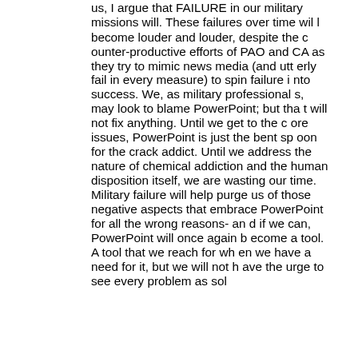us, I argue that FAILURE in our military missions will. These failures over time will become louder and louder, despite the counter-productive efforts of PAO and CA as they try to mimic news media (and utterly fail in every measure) to spin failure into success. We, as military professionals, may look to blame PowerPoint; but that will not fix anything. Until we get to the core issues, PowerPoint is just the bent spoon for the crack addict. Until we address the nature of chemical addiction and the human disposition itself, we are wasting our time. Military failure will help purge us of those negative aspects that embrace PowerPoint for all the wrong reasons- and if we can, PowerPoint will once again become a tool. A tool that we reach for when we have a need for it, but we will not have the urge to see every problem as sol